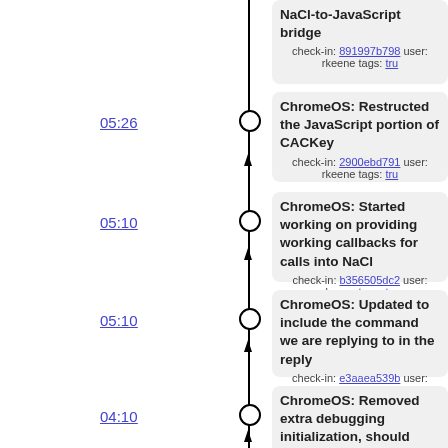NaCl-to-JavaScript bridge
check-in: 891997b798 user: rkeene tags: tru
05:26
ChromeOS: Restructed the JavaScript portion of CACKey
check-in: 2900ebd791 user: rkeene tags: tru
05:10
ChromeOS: Started working on providing working callbacks for calls into NaCl
check-in: b356505dc2 user: rkeene tags: tru
05:10
ChromeOS: Updated to include the command we are replying to in the reply
check-in: e3aaea539b user: rkeene tags: tru
04:10
ChromeOS: Removed extra debugging initialization, should now be centralized
check-in: 39884d86b4 user: rkeene tags: tru
04:06
ChromeOS: Started work on supporting signing messages
check-in: 75140d9f77 user: rkeene tags: tru